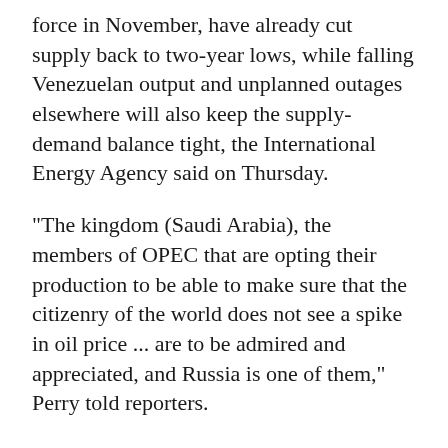force in November, have already cut supply back to two-year lows, while falling Venezuelan output and unplanned outages elsewhere will also keep the supply-demand balance tight, the International Energy Agency said on Thursday.
"The kingdom (Saudi Arabia), the members of OPEC that are opting their production to be able to make sure that the citizenry of the world does not see a spike in oil price ... are to be admired and appreciated, and Russia is one of them," Perry told reporters.
The United States, Russia and Saudi Arabia are also working together to make sure the world has access to affordable energy, he added.
Oil prices fell on Thursday, slipping back from four-